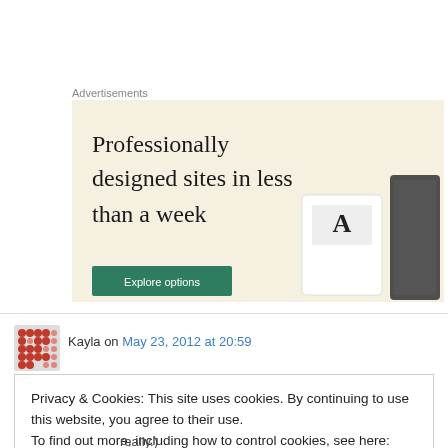Advertisements
[Figure (illustration): Advertisement banner with beige background showing text 'Professionally designed sites in less than a week' with a green 'Explore options' button and device mockups on the right side.]
Kayla on May 23, 2012 at 20:59
Privacy & Cookies: This site uses cookies. By continuing to use this website, you agree to their use.
To find out more, including how to control cookies, see here: Cookie Policy
Close and accept
really.)